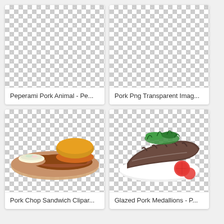[Figure (photo): Peperami pork animal product on transparent/checkered background]
Peperami Pork Animal - Pe...
[Figure (photo): Pork PNG transparent image on checkered background]
Pork Png Transparent Imag...
[Figure (photo): Pork chop sandwich with coleslaw on a plate, clipart style on checkered background]
Pork Chop Sandwich Clipar...
[Figure (photo): Glazed pork medallions with tomato slices and garnish on a white plate, on checkered background]
Glazed Pork Medallions - P...